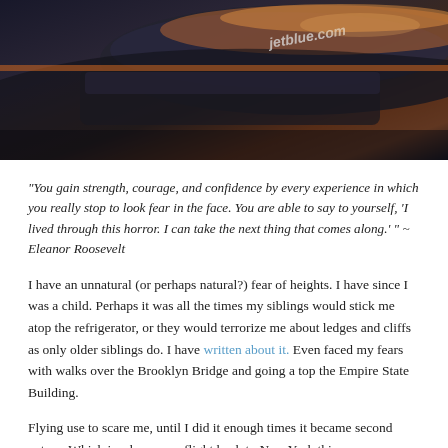[Figure (photo): Close-up photo of an airplane exterior with orange/sunset lighting, showing the jet blue.com text on the fuselage]
“You gain strength, courage, and confidence by every experience in which you really stop to look fear in the face. You are able to say to yourself, ‘I lived through this horror. I can take the next thing that comes along.’ ” ~ Eleanor Roosevelt
I have an unnatural (or perhaps natural?) fear of heights. I have since I was a child. Perhaps it was all the times my siblings would stick me atop the refrigerator, or they would terrorize me about ledges and cliffs as only older siblings do. I have written about it. Even faced my fears with walks over the Brooklyn Bridge and going a top the Empire State Building.
Flying use to scare me, until I did it enough times it became second nature. Which is why on my flight back to New York this